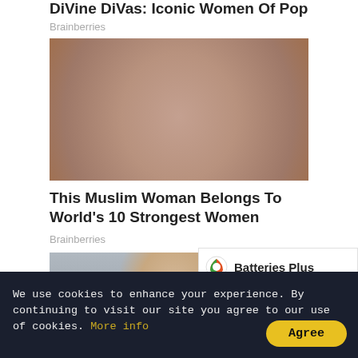DiVine DiVas: Iconic Women Of Pop
Brainberries
[Figure (photo): A Muslim woman wearing a pink/beige hijab, looking to the side, with a blue blurred background]
This Muslim Woman Belongs To World's 10 Strongest Women
Brainberries
[Figure (photo): A woman with dark hair partially visible, blurred background]
[Figure (logo): Batteries Plus logo with orange/green circular icon]
We use cookies to enhance your experience. By continuing to visit our site you agree to our use of cookies. More info
Agree